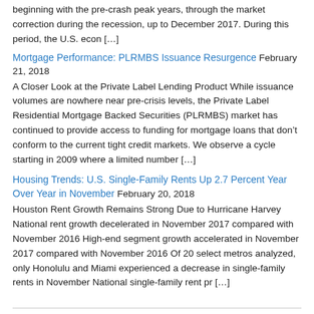beginning with the pre-crash peak years, through the market correction during the recession, up to December 2017. During this period, the U.S. econ […]
Mortgage Performance: PLRMBS Issuance Resurgence
February 21, 2018
A Closer Look at the Private Label Lending Product While issuance volumes are nowhere near pre-crisis levels, the Private Label Residential Mortgage Backed Securities (PLRMBS) market has continued to provide access to funding for mortgage loans that don't conform to the current tight credit markets. We observe a cycle starting in 2009 where a limited number […]
Housing Trends: U.S. Single-Family Rents Up 2.7 Percent Year Over Year in November
February 20, 2018
Houston Rent Growth Remains Strong Due to Hurricane Harvey National rent growth decelerated in November 2017 compared with November 2016 High-end segment growth accelerated in November 2017 compared with November 2016 Of 20 select metros analyzed, only Honolulu and Miami experienced a decrease in single-family rents in November National single-family rent pr […]